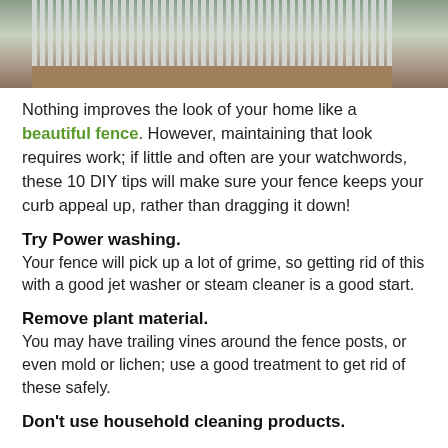[Figure (photo): Photo of a white fence with vertical slats and a wooden deck, with greenery in the background]
Nothing improves the look of your home like a beautiful fence. However, maintaining that look requires work; if little and often are your watchwords, these 10 DIY tips will make sure your fence keeps your curb appeal up, rather than dragging it down!
Try Power washing.
Your fence will pick up a lot of grime, so getting rid of this with a good jet washer or steam cleaner is a good start.
Remove plant material.
You may have trailing vines around the fence posts, or even mold or lichen; use a good treatment to get rid of these safely.
Don't use household cleaning products.